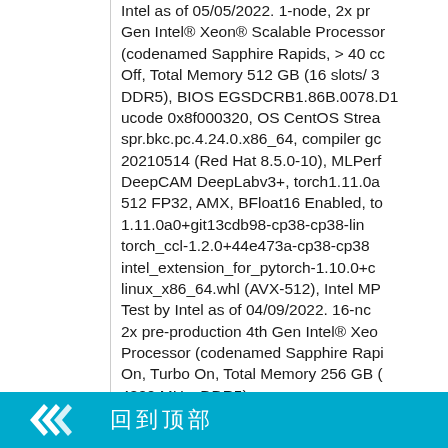Intel as of 05/05/2022. 1-node, 2x pre-production 4th Gen Intel® Xeon® Scalable Processor (codenamed Sapphire Rapids, > 40 cores), Hyper Threading Off, Total Memory 512 GB (16 slots/ 32 GB/ 4800 MHz DDR5), BIOS EGSDCRB1.86B.0078.D13.2203251253, ucode 0x8f000320, OS CentOS Stream 8, kernel spr.bkc.pc.4.24.0.x86_64, compiler gcc 11.2.1 20210514 (Red Hat 8.5.0-10), MLPerf workload: DeepCAM DeeplLabv3+, torch1.11.0a0+git13cdb98, batch size 512 FP32, AMX, BFloat16 Enabled, torch-1.11.0a0+git13cdb98-cp38-cp38-linux_x86_64.whl, torch_ccl-1.2.0+44e473a-cp38-cp38-linux_x86_64.whl, intel_extension_for_pytorch-1.10.0+cpu.llvm-linux_x86_64.whl (AVX-512), Intel MPI. Test by Intel as of 04/09/2022. 16-node, 2x pre-production 4th Gen Intel® Xeon® Scalable Processor (codenamed Sapphire Rapids), Hyper Threading On, Turbo On, Total Memory 256 GB (8 slots/ 32 GB/ 4800 MHz, DDR5), BIOS SE5C6301.86B.67...
[Figure (other): Overlay bar at bottom with a teal/cyan background, featuring a white logo icon (two overlapping arrow-like chevrons) and white CJK characters]